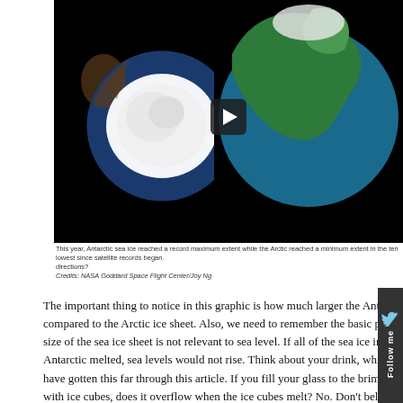[Figure (screenshot): A NASA video player showing two globe views: Antarctica (left, with white ice sheet) and the Arctic/Northern Hemisphere (right, blue ocean and green land). A play button is centered. Video controls bar at bottom shows 0:02/1:43. Caption below reads: 'This year, Antarctic sea ice reached a record maximum extent while the Arctic reached a minimum extent in the ten lowest since satellite records began. directions?' Credits: NASA Goddard Space Flight Center/Joy Ng]
This year, Antarctic sea ice reached a record maximum extent while the Arctic reached a minimum extent in the ten lowest since satellite records began. directions?
Credits: NASA Goddard Space Flight Center/Joy Ng
The important thing to notice in this graphic is how much larger the Antarctic compared to the Arctic ice sheet. Also, we need to remember the basic phy size of the sea ice sheet is not relevant to sea level. If all of the sea ice in b Antarctic melted, sea levels would not rise. Think about your drink, which y have gotten this far through this article. If you fill your glass to the brim with ice cubes, does it overflow when the ice cubes melt? No. Don't believe me all of the sea ice melted then some of the ice on the Greenland and Antarc more rapidly, and that water would lead to sea level rise. But, sea ice, by its the ice that is at the edge of any land — in the North D M